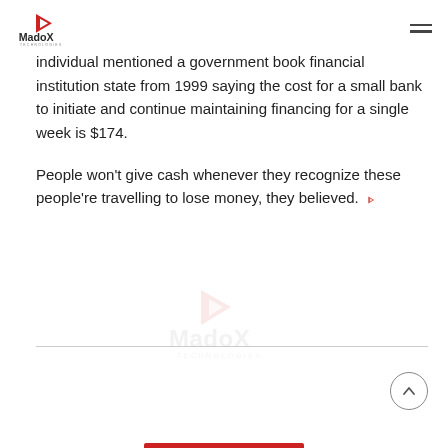MadoX Technologies logo and navigation
individual mentioned a government book financial institution state from 1999 saying the cost for a small bank to initiate and continue maintaining financing for a single week is $174.
People won't give cash whenever they recognize these people're travelling to lose money, they believed.
[Figure (logo): MadoX Technologies watermark logo centered on page]
[Figure (other): Scroll-to-top circular button with upward arrow]